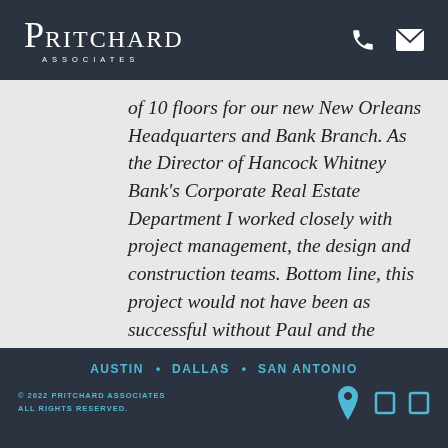[Figure (logo): Pritchard Associates logo in white text on dark background]
of 10 floors for our new New Orleans Headquarters and Bank Branch. As the Director of Hancock Whitney Bank's Corporate Real Estate Department I worked closely with project management, the design and construction teams. Bottom line, this project would not have been as successful without Paul and the services provided by Pritchard Associates...he represented Pritchard
AUSTIN • DALLAS • SAN ANTONIO © 2022 PRITCHARD ASSOCIATES ALL RIGHTS RESERVED.